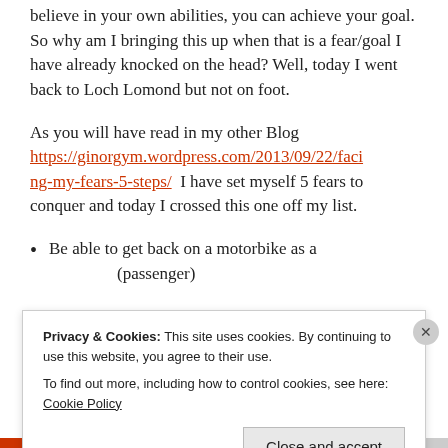believe in your own abilities, you can achieve your goal. So why am I bringing this up when that is a fear/goal I have already knocked on the head? Well, today I went back to Loch Lomond but not on foot.
As you will have read in my other Blog https://ginorgym.wordpress.com/2013/09/22/facing-my-fears-5-steps/  I have set myself 5 fears to conquer and today I crossed this one off my list.
Be able to get back on a motorbike as a (passenger)
Privacy & Cookies: This site uses cookies. By continuing to use this website, you agree to their use.
To find out more, including how to control cookies, see here: Cookie Policy